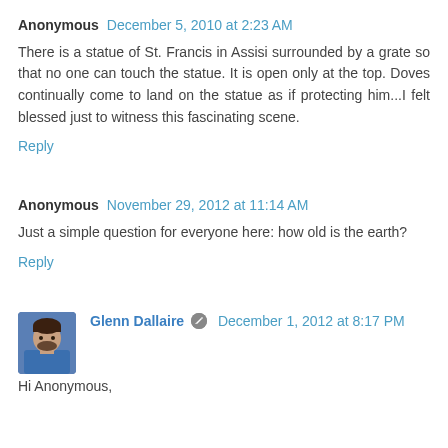Anonymous  December 5, 2010 at 2:23 AM
There is a statue of St. Francis in Assisi surrounded by a grate so that no one can touch the statue. It is open only at the top. Doves continually come to land on the statue as if protecting him...I felt blessed just to witness this fascinating scene.
Reply
Anonymous  November 29, 2012 at 11:14 AM
Just a simple question for everyone here: how old is the earth?
Reply
Glenn Dallaire  December 1, 2012 at 8:17 PM
Hi Anonymous,